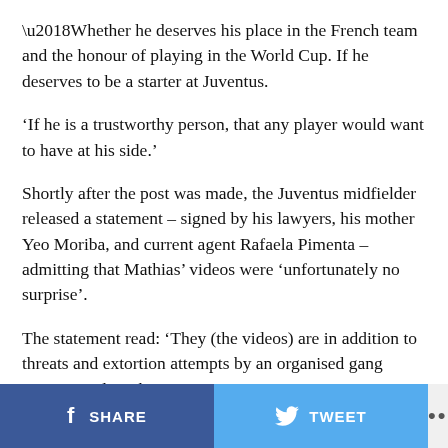‘Whether he deserves his place in the French team and the honour of playing in the World Cup. If he deserves to be a starter at Juventus.
‘If he is a trustworthy person, that any player would want to have at his side.’
Shortly after the post was made, the Juventus midfielder released a statement – signed by his lawyers, his mother Yeo Moriba, and current agent Rafaela Pimenta – admitting that Mathias’ videos were ‘unfortunately no surprise’.
The statement read: ‘They (the videos) are in addition to threats and extortion attempts by an organised gang against Paul Pogba.’
SHARE   TWEET   ...